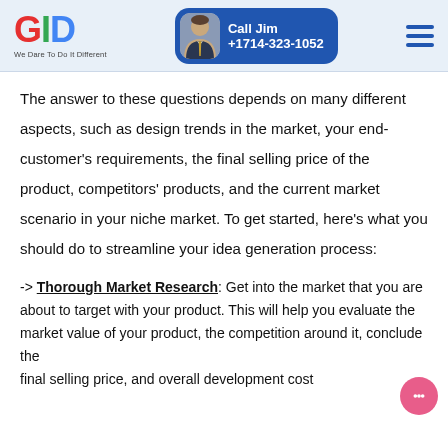GID – We Dare To Do It Different | Call Jim +1714-323-1052
The answer to these questions depends on many different aspects, such as design trends in the market, your end-customer's requirements, the final selling price of the product, competitors' products, and the current market scenario in your niche market. To get started, here's what you should do to streamline your idea generation process:
-> Thorough Market Research: Get into the market that you are about to target with your product. This will help you evaluate the market value of your product, the competition around it, conclude the final selling price, and overall development cost